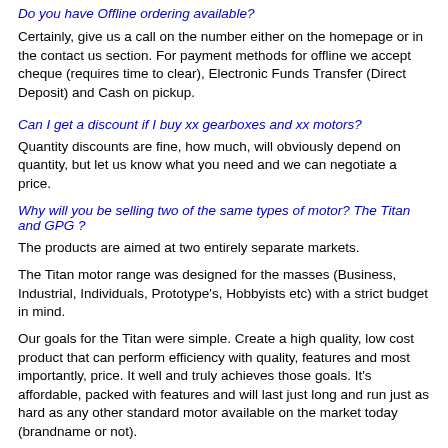Do you have Offline ordering available?
Certainly, give us a call on the number either on the homepage or in the contact us section. For payment methods for offline we accept cheque (requires time to clear), Electronic Funds Transfer (Direct Deposit) and Cash on pickup.
Can I get a discount if I buy xx gearboxes and xx motors?
Quantity discounts are fine, how much, will obviously depend on quantity, but let us know what you need and we can negotiate a price.
Why will you be selling two of the same types of motor? The Titan and GPG ?
The products are aimed at two entirely separate markets.
The Titan motor range was designed for the masses (Business, Industrial, Individuals, Prototype's, Hobbyists etc) with a strict budget in mind.
Our goals for the Titan were simple. Create a high quality, low cost product that can perform efficiency with quality, features and most importantly, price. It well and truly achieves those goals. It's affordable, packed with features and will last just long and run just as hard as any other standard motor available on the market today (brandname or not).